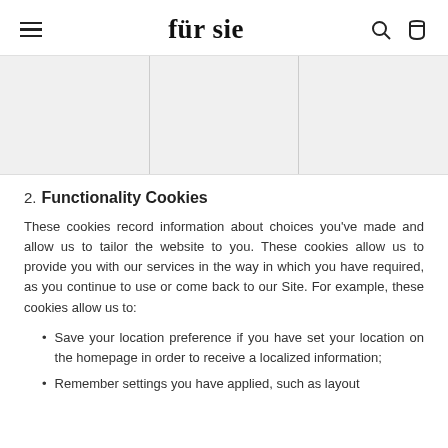für sie
[Figure (photo): Three product/lifestyle image placeholders arranged in a row]
2. Functionality Cookies
These cookies record information about choices you've made and allow us to tailor the website to you. These cookies allow us to provide you with our services in the way in which you have required, as you continue to use or come back to our Site. For example, these cookies allow us to:
Save your location preference if you have set your location on the homepage in order to receive a localized information;
Remember settings you have applied, such as layout